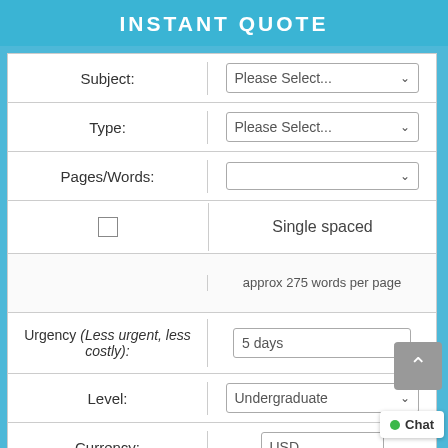INSTANT QUOTE
| Field | Value |
| --- | --- |
| Subject: | Please Select... |
| Type: | Please Select... |
| Pages/Words: |  |
| [checkbox] | Single spaced |
|  | approx 275 words per page |
| Urgency (Less urgent, less costly): | 5 days |
| Level: | Undergraduate |
| Currency: | USD |
| Total Cost: | NaN |